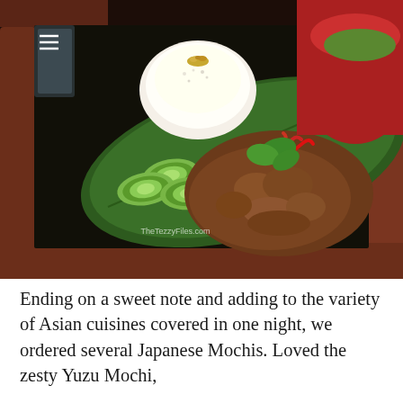[Figure (photo): A food photography image showing a Southeast Asian dish served on a dark elongated tray with a banana leaf. The dish includes a mound of white rice topped with fried garlic, sliced cucumbers, a meat curry garnished with red chilies and cilantro. A red bowl is partially visible in the background. A watermark reads 'TheTezzyFiles.com'.]
Ending on a sweet note and adding to the variety of Asian cuisines covered in one night, we ordered several Japanese Mochis. Loved the zesty Yuzu Mochi,